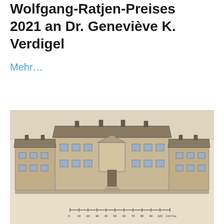Wolfgang-Ratjen-Preises 2021 an Dr. Geneviève K. Verdigel
Mehr…
[Figure (illustration): Historical architectural engraving/drawing of a large multi-story classical building facade with symmetrical windows, central entrance portal with pediment, flanking wings, and chimneys. Below the building is a measurement scale bar with numbers from 0 to 110 Fus.]